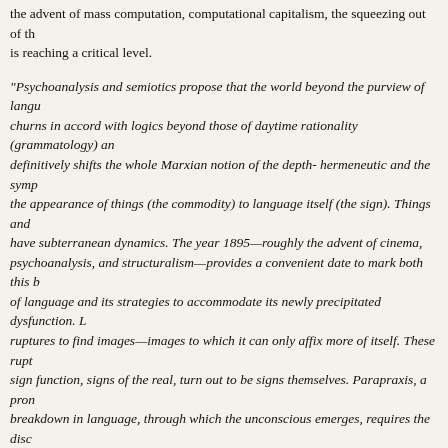the advent of mass computation, computational capitalism, the squeezing out of th... is reaching a critical level.
“Psychoanalysis and semiotics propose that the world beyond the purview of langu... churns in accord with logics beyond those of daytime rationality (grammatology) an... definitively shifts the whole Marxian notion of the depth- hermeneutic and the symp... the appearance of things (the commodity) to language itself (the sign). Things and... have subterranean dynamics. The year 1895—roughly the advent of cinema, psychoanalysis, and structuralism—provides a convenient date to mark both this b... of language and its strategies to accommodate its newly precipitated dysfunction. L... ruptures to find images—images to which it can only affix more of itself. These rupt... sign function, signs of the real, turn out to be signs themselves. Parapraxis, a pron... breakdown in language, through which the unconscious emerges, requires the disc... that will be psychoanalysis to explain it. { } …the onslaught of the visual and the pe... of the life world by visual technologies can be thought of as the unconscious of the... unconscious itself—the repressed media history that provided the template for the... insights into human nature that emerged out of both psychoanalysis and studies of... function. Likewise semiotics, with its attention to visual texts as well as its meditatio... meaning of meaning that in one branch of its endeavors culminated in the analysis... structure of myth as a second-order signifying system (Barthes), showed the ways... signs could be deployed (and therefore denatured) by what we might today recogn... program. Poststructuralism and deconstruction, despite the latter’s intensive emph... textuality, amounted to an elaboration of Lacanian *aphanasis* (the fading of the su...